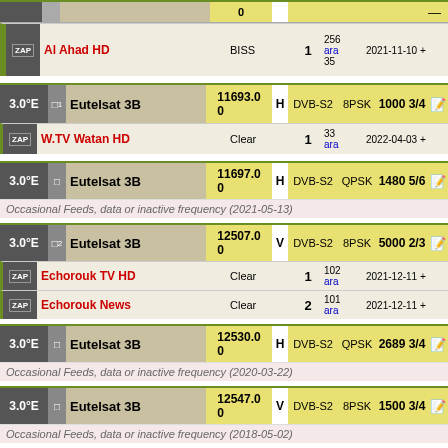| Pos | Name | Freq | Pol | System | Mod | SR/FEC | Actions |
| --- | --- | --- | --- | --- | --- | --- | --- |
| — | — | 0 |  |  |  |  | — |
| ZAP | Al Ahad HD |  | BISS | 1 | 256 ara 35 | 2021-11-10 + |  |
| 3.0°E | Eutelsat 3B | 11693.00 | H | DVB-S2 | 8PSK | 1000 3/4 |  |
| ZAP | W.TV Watan HD |  | Clear | 1 | 33 ara | 2022-04-03 + |  |
| 3.0°E | Eutelsat 3B | 11697.00 | H | DVB-S2 | QPSK | 1480 5/6 |  |
| 3.0°E | Eutelsat 3B | 12507.00 | V | DVB-S2 | 8PSK | 5000 2/3 |  |
| ZAP | Echorouk TV HD |  | Clear | 1 | 102 ara | 2021-12-11 + |  |
| ZAP | Echorouk News |  | Clear | 2 | 101 ara | 2021-12-11 + |  |
| 3.0°E | Eutelsat 3B | 12530.00 | H | DVB-S2 | QPSK | 2689 3/4 |  |
| 3.0°E | Eutelsat 3B | 12547.00 | V | DVB-S2 | 8PSK | 1500 3/4 |  |
| 3.0°E | Eutelsat 3B | 12552.00 | V | DVB-S2 | 8PSK | 1500 5/6 |  |
Occasional Feeds, data or inactive frequency (2021-05-13)
Occasional Feeds, data or inactive frequency (2020-03-22)
Occasional Feeds, data or inactive frequency (2018-05-02)